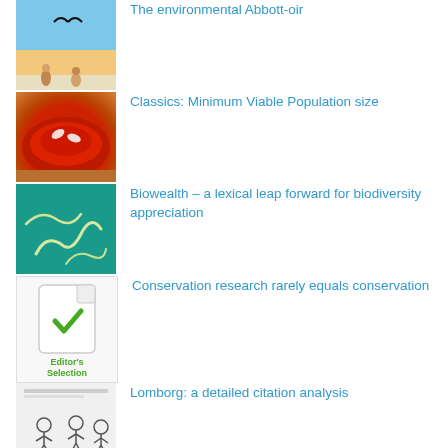The environmental Abbott-oir
Classics: Minimum Viable Population size
Biowealth – a lexical leap forward for biodiversity appreciation
Conservation research rarely equals conservation
Lomborg: a detailed citation analysis